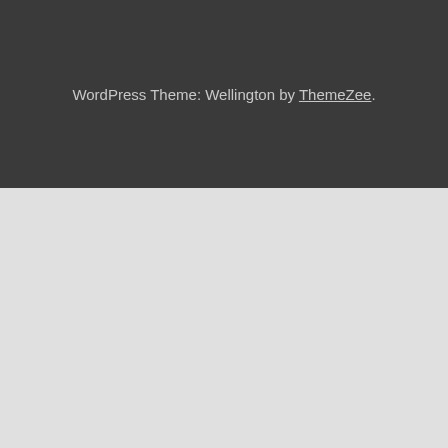WordPress Theme: Wellington by ThemeZee.